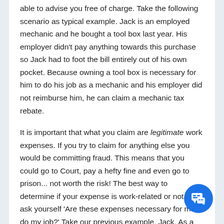able to advise you free of charge. Take the following scenario as typical example. Jack is an employed mechanic and he bought a tool box last year. His employer didn't pay anything towards this purchase so Jack had to foot the bill entirely out of his own pocket. Because owning a tool box is necessary for him to do his job as a mechanic and his employer did not reimburse him, he can claim a mechanic tax rebate.
It is important that what you claim are legitimate work expenses. If you try to claim for anything else you would be committing fraud. This means that you could go to Court, pay a hefty fine and even go to prison... not worth the risk! The best way to determine if your expense is work-related or not is to ask yourself 'Are these expenses necessary for me to do my job?' Take our previous example, Jack. As a mechanic if he doesn't have a tool box then he can't do his job; his expense is work-related, therefore he